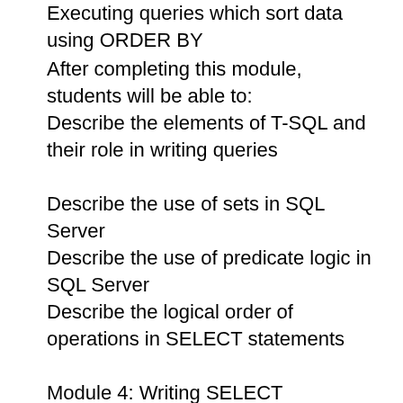Executing queries which sort data using ORDER BY
After completing this module, students will be able to:
Describe the elements of T-SQL and their role in writing queries
Describe the use of sets in SQL Server
Describe the use of predicate logic in SQL Server
Describe the logical order of operations in SELECT statements
Module 4: Writing SELECT QueriesThis module introduces the fundamentals of the SELECT statement, focusing on queries against a single table.Lessons
Writing Simple SELECT